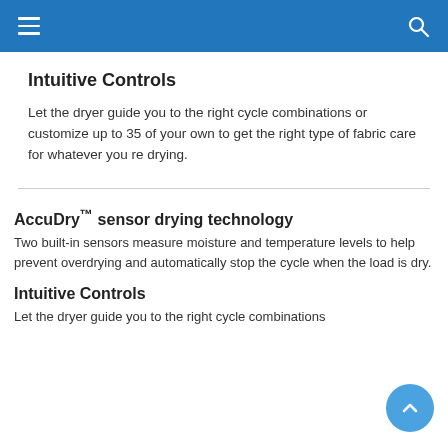navigation bar with hamburger menu and search icon
Intuitive Controls
Let the dryer guide you to the right cycle combinations or customize up to 35 of your own to get the right type of fabric care for whatever you re drying.
AccuDry™ sensor drying technology
Two built-in sensors measure moisture and temperature levels to help prevent overdrying and automatically stop the cycle when the load is dry.
Intuitive Controls
Let the dryer guide you to the right cycle combinations